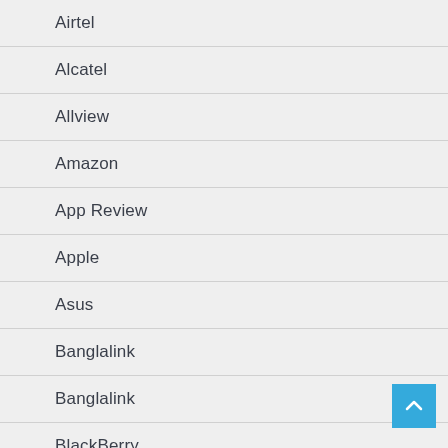Airtel
Alcatel
Allview
Amazon
App Review
Apple
Asus
Banglalink
Banglalink
BlackBerry
BLU